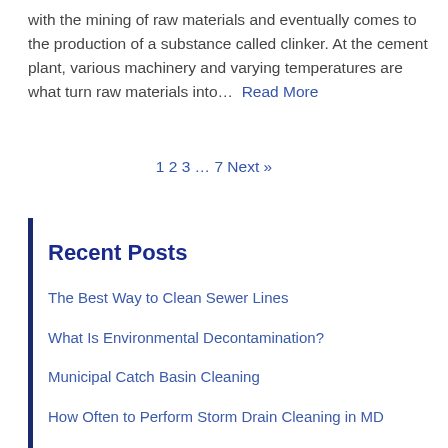with the mining of raw materials and eventually comes to the production of a substance called clinker. At the cement plant, various machinery and varying temperatures are what turn raw materials into… Read More
1 2 3 … 7 Next »
Recent Posts
The Best Way to Clean Sewer Lines
What Is Environmental Decontamination?
Municipal Catch Basin Cleaning
How Often to Perform Storm Drain Cleaning in MD
Water Jet Blasting and Abrasive Blasting
Categories